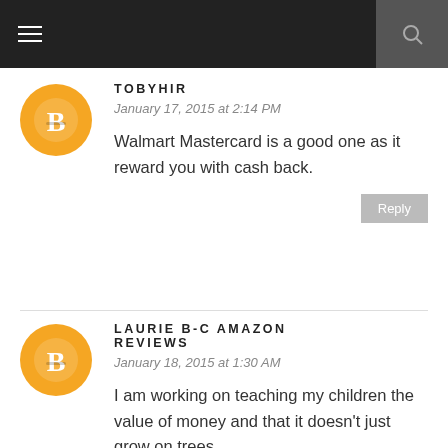TOBYHIR
January 17, 2015 at 2:14 PM
Walmart Mastercard is a good one as it reward you with cash back.
LAURIE B-C AMAZON REVIEWS
January 18, 2015 at 1:30 AM
I am working on teaching my children the value of money and that it doesn't just grow on trees,